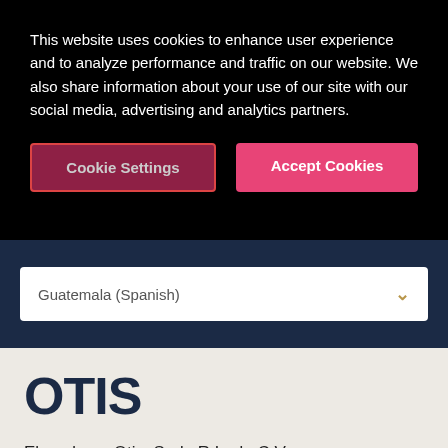This website uses cookies to enhance user experience and to analyze performance and traffic on our website. We also share information about your use of our site with our social media, advertising and analytics partners.
Cookie Settings
Accept Cookies
Guatemala (Spanish)
[Figure (logo): OTIS company logo in dark navy blue bold text]
Elevadores Otis, S. de R.L. de C.V.
19 Calle 17-77 zona 10
Guatemala, Centroamérica